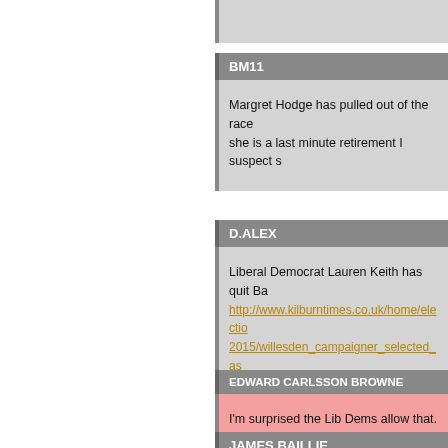BM11
Margret Hodge has pulled out of the race she is a last minute retirement I suspect s
D.ALEX
Liberal Democrat Lauren Keith has quit Ba http://www.kilburntimes.co.uk/home/electio 2015/willesden_campaigner_selected_as
EDWARD CARLSSON BROWNE
I'm surprised the Lib Dems allow that. I kn you're selected for to try to get another, yo
JAMES BAILLIE